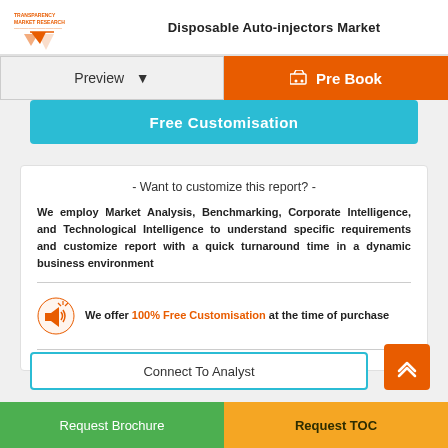Disposable Auto-injectors Market
Preview
Pre Book
Free Customisation
- Want to customize this report? -
We employ Market Analysis, Benchmarking, Corporate Intelligence, and Technological Intelligence to understand specific requirements and customize report with a quick turnaround time in a dynamic business environment
We offer 100% Free Customisation at the time of purchase
Connect To Analyst
Request Brochure
Request TOC